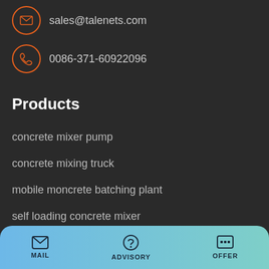sales@talenets.com
0086-371-60922096
Products
concrete mixer pump
concrete mixing truck
mobile moncrete batching plant
self loading concrete mixer
Navigation
Products
MAIL   ADVISORY   OFFER